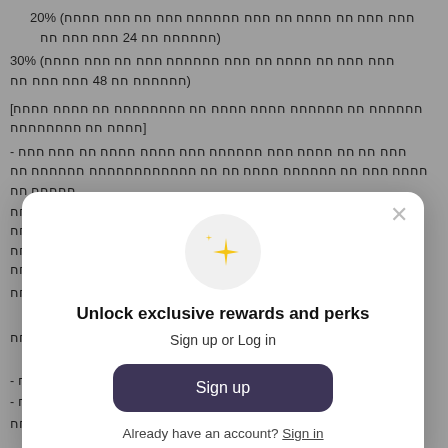20% (חחח חחח חח חחחח חח חחח חחחחחח חחח חח חחח חחחח חחחחחח חח 24 חחח חחח חח)
30% (חחח חחח חח חחחח חח חחח חחחחחח חחח חח חחח חחחח חחחחחח חח 48 חחח חחח חח)
[חחחחחח חח חחחחחח חחחח חחחח חח חחחחחחחח חח חחחח חחחח חחחח חח חחחחחחחח]
- חחח חח חח חחחח חחח חחחחחח חחח חחחח חחחח חח חחח חחח חחחח חחח חח חחחחחח חחחח חח חח חחחחחחחחחחחח חחחחחח חח חחחחח חח,
חחחח חח חחחח חחח חחחח חח חחח חח חח חחחח חחחח חחחח חחח חח חחח (חחחח חחחח חח חחחח חחח חח חח חחחח חחח חחחח) חח 30% חחחח חחחח חח חחח חחחחחח, חחחח חח חחחחחח חח, חח חח חחחח חח חחחח חח חחחח חחחח
[Figure (screenshot): Modal dialog overlay with sparkle icon, title 'Unlock exclusive rewards and perks', subtitle 'Sign up or Log in', a 'Sign up' button, and 'Already have an account? Sign in' link. A close (×) button is in the top right corner of the modal.]